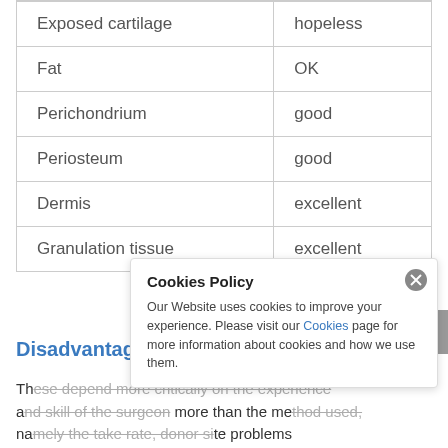| [Tissue type] | [Graft take] |
| --- | --- |
| Exposed cartilage | hopeless |
| Fat | OK |
| Perichondrium | good |
| Periosteum | good |
| Dermis | excellent |
| Granulation tissue | excellent |
Disadvantages / Advantages
These depend more critically on the experience and skill of the surgeon than the method used, namely the take rate, donor site problems and aesthetic results. In the skin graft technique, the surgeon is…